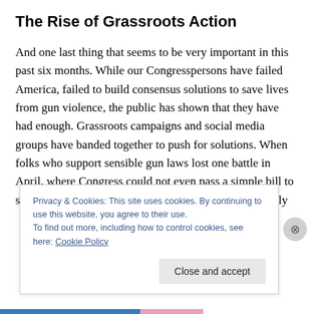The Rise of Grassroots Action
And one last thing that seems to be very important in this past six months. While our Congresspersons have failed America, failed to build consensus solutions to save lives from gun violence, the public has shown that they have had enough. Grassroots campaigns and social media groups have banded together to push for solutions. When folks who support sensible gun laws lost one battle in April, where Congress could not even pass a simple bill to strengthen background checks so felons and the mentally
Privacy & Cookies: This site uses cookies. By continuing to use this website, you agree to their use.
To find out more, including how to control cookies, see here: Cookie Policy
Close and accept